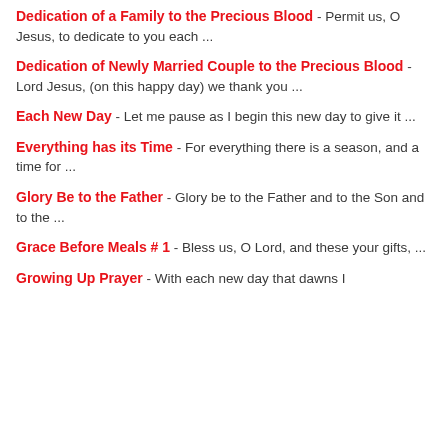Dedication of a Family to the Precious Blood - Permit us, O Jesus, to dedicate to you each ...
Dedication of Newly Married Couple to the Precious Blood - Lord Jesus, (on this happy day) we thank you ...
Each New Day - Let me pause as I begin this new day to give it ...
Everything has its Time - For everything there is a season, and a time for ...
Glory Be to the Father - Glory be to the Father and to the Son and to the ...
Grace Before Meals # 1 - Bless us, O Lord, and these your gifts, ...
Growing Up Prayer - With each new day that dawns I